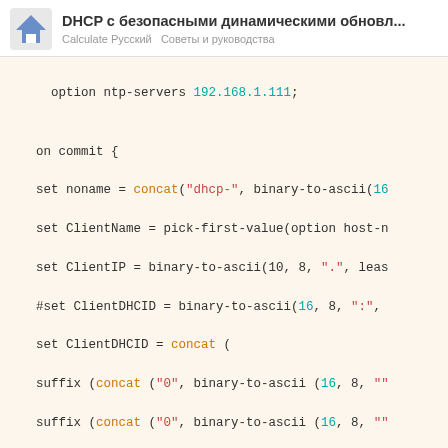DHCP с безопасными динамическими обновл... | Calculate Русский  Советы и руководства
[Figure (screenshot): Code block showing DHCP configuration: option ntp-servers 192.168.1.111; on commit { set noname = concat("dhcp-", binary-to-ascii(16... set ClientName = pick-first-value(option host-n... set ClientIP = binary-to-ascii(10, 8, ".", leas... #set ClientDHCID = binary-to-ascii(16, 8, ":"... set ClientDHCID = concat ( suffix (concat ("0", binary-to-ascii (16, 8, ""... (repeated 6 times)]
5. создаем, редактируем и даем нужные права на скрипт /etc/dhcp/dns-krbnsupdate.sh
#!/bin/bash
1 / 1